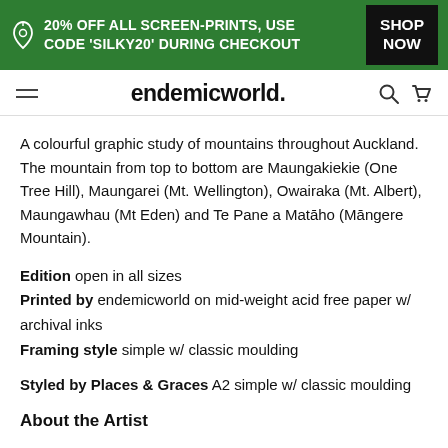20% OFF ALL SCREEN-PRINTS, USE CODE 'SILKY20' DURING CHECKOUT — SHOP NOW
endemicworld.
A colourful graphic study of mountains throughout Auckland. The mountain from top to bottom are Maungakiekie (One Tree Hill), Maungarei (Mt. Wellington), Owairaka (Mt. Albert), Maungawhau (Mt Eden) and Te Pane a Matāho (Māngere Mountain).
Edition open in all sizes
Printed by endemicworld on mid-weight acid free paper w/ archival inks
Framing style simple w/ classic moulding
Styled by Places & Graces A2 simple w/ classic moulding
About the Artist